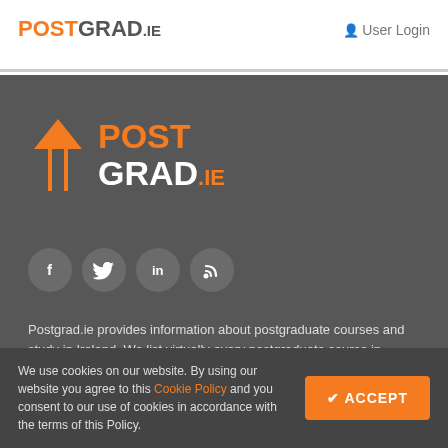[Figure (logo): POSTGRAD.IE logo in header — POST in orange, GRAD in dark gray, .IE in smaller dark gray text]
User Login
[Figure (logo): Large POSTGRAD.IE logo on dark background with orange arrow icon — POST in orange, GRAD.IE in white/orange]
[Figure (infographic): Four social media circular icons: Facebook, Twitter, LinkedIn, RSS feed]
Postgrad.ie provides information about postgraduate courses and study in Ireland. We list virtually every postgraduate course in Ireland, so you can search for the course of your choice.
We use cookies on our website. By using our website you agree to this Cookie Policy and you consent to our use of cookies in accordance with the terms of this Policy.